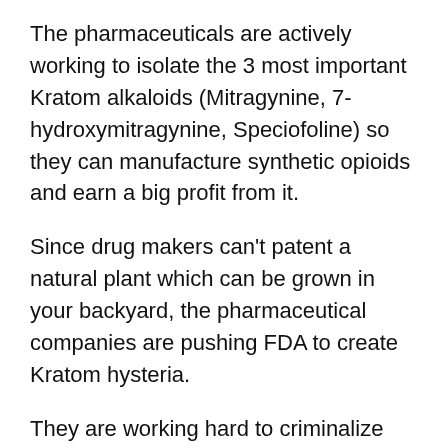The pharmaceuticals are actively working to isolate the 3 most important Kratom alkaloids (Mitragynine, 7-hydroxymitragynine, Speciofoline) so they can manufacture synthetic opioids and earn a big profit from it.
Since drug makers can't patent a natural plant which can be grown in your backyard, the pharmaceutical companies are pushing FDA to create Kratom hysteria.
They are working hard to criminalize the kratom sale and that only possible when the Gov bans it nationwide.